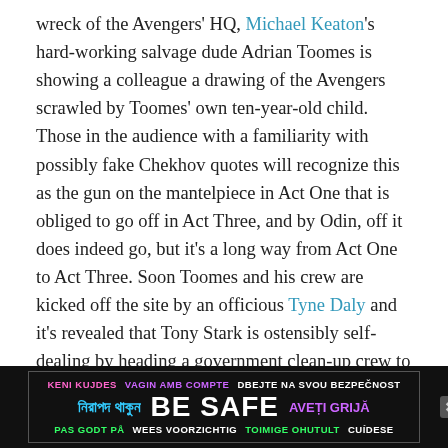wreck of the Avengers' HQ, Michael Keaton's hard-working salvage dude Adrian Toomes is showing a colleague a drawing of the Avengers scrawled by Toomes' own ten-year-old child. Those in the audience with a familiarity with possibly fake Chekhov quotes will recognize this as the gun on the mantelpiece in Act One that is obliged to go off in Act Three, and by Odin, off it does indeed go, but it's a long way from Act One to Act Three. Soon Toomes and his crew are kicked off the site by an officious Tyne Daly and it's revealed that Tony Stark is ostensibly self-dealing by heading a government clean-up crew to handle the superhero mess. To give credit to the six screenwriters on this movie, the oodles of rather convoluted plot detail are relatively clear even if you're not super-paying-attention.
[Figure (infographic): Advertisement banner on black background with multilingual safety message. Text reads: KENI KUJDES (pink), VAGIN AMB COMPTE (purple), DBEJTE NA SVOU BEZPEČNOST (white/yellow), नিরাপদ থাকুন (cyan, Bengali), BE SAFE (large white bold center), AVETI GRIJĂ (purple), PAS GODT PÅ (green), WEES VOORZICHTIG (white), TOIMIGE OHUTULT (green), CUIDESE (white). Close button (X) on right.]